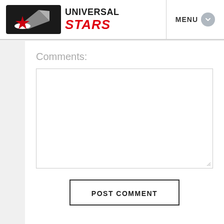[Figure (logo): Universal Stars logo with black rounded rectangle containing a red star and grey arrow/rocket shape, followed by bold text UNIVERSAL in black and STARS in red italic]
MENU
Comments:
POST COMMENT